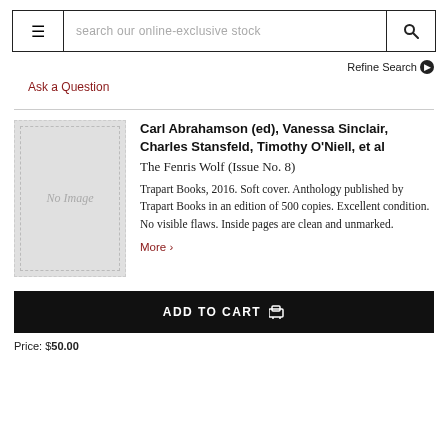search our online-exclusive stock
Refine Search
Ask a Question
[Figure (illustration): No Image placeholder for book cover]
Carl Abrahamson (ed), Vanessa Sinclair, Charles Stansfeld, Timothy O'Niell, et al
The Fenris Wolf (Issue No. 8)
Trapart Books, 2016. Soft cover. Anthology published by Trapart Books in an edition of 500 copies. Excellent condition. No visible flaws. Inside pages are clean and unmarked.
More >
ADD TO CART
Price: $50.00